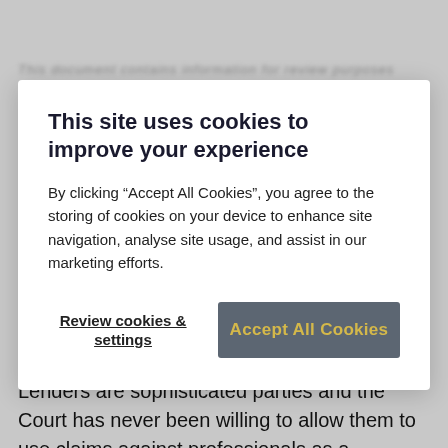This site uses cookies to improve your experience
By clicking “Accept All Cookies”, you agree to the storing of cookies on your device to enhance site navigation, analyse site usage, and assist in our marketing efforts.
Review cookies & settings
Accept All Cookies
The key with professional negligence claims has always been not to get carried away and ensure you separate the wheat from the chaff. Lenders are sophisticated parties and the Court has never been willing to allow them to use claims against professionals as a panacea for unsecured loss when a lending decision does not